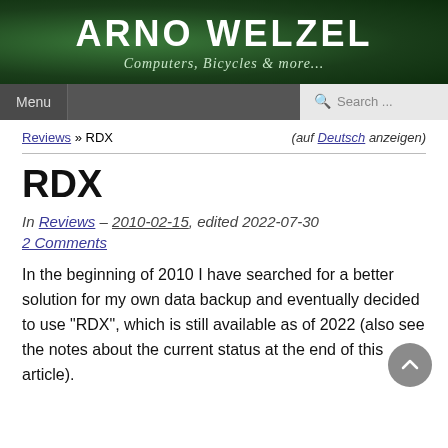ARNO WELZEL
Computers, Bicycles & more...
Menu
Search ...
Reviews » RDX
(auf Deutsch anzeigen)
RDX
In Reviews – 2010-02-15, edited 2022-07-30
2 Comments
In the beginning of 2010 I have searched for a better solution for my own data backup and eventually decided to use "RDX", which is still available as of 2022 (also see the notes about the current status at the end of this article).